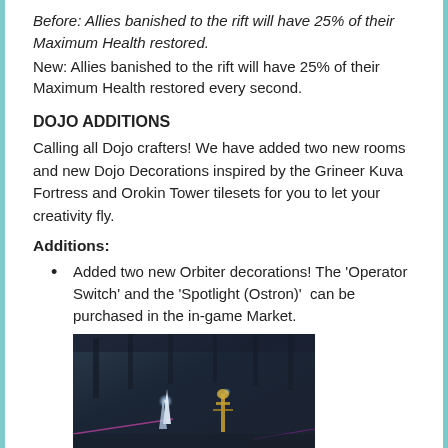Before: Allies banished to the rift will have 25% of their Maximum Health restored.
New: Allies banished to the rift will have 25% of their Maximum Health restored every second.
DOJO ADDITIONS
Calling all Dojo crafters! We have added two new rooms and new Dojo Decorations inspired by the Grineer Kuva Fortress and Orokin Tower tilesets for you to let your creativity fly.
Additions:
Added two new Orbiter decorations! The ‘Operator Switch’ and the ‘Spotlight (Ostron)’  can be purchased in the in-game Market.
[Figure (photo): In-game screenshot showing decorations in a dark sci-fi environment with glowing light elements]